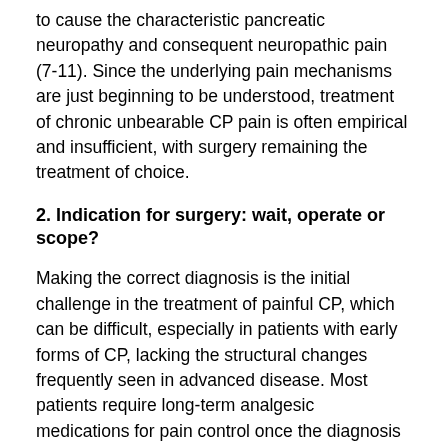to cause the characteristic pancreatic neuropathy and consequent neuropathic pain (7-11). Since the underlying pain mechanisms are just beginning to be understood, treatment of chronic unbearable CP pain is often empirical and insufficient, with surgery remaining the treatment of choice.
2. Indication for surgery: wait, operate or scope?
Making the correct diagnosis is the initial challenge in the treatment of painful CP, which can be difficult, especially in patients with early forms of CP, lacking the structural changes frequently seen in advanced disease. Most patients require long-term analgesic medications for pain control once the diagnosis is confirmed. Moreover, patients should be advised to maintain strict abstinence from alcohol and tobacco. Pain medication should be employed according to the step up approach of the WHO analgesic ladder.